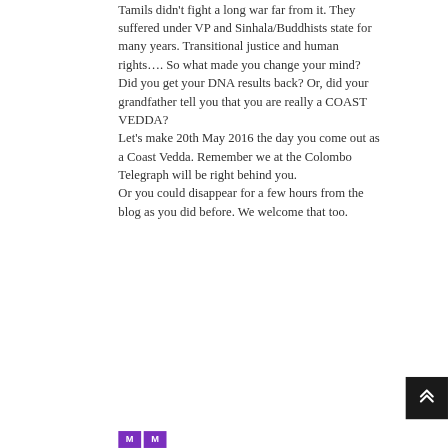Tamils didn't fight a long war far from it. They suffered under VP and Sinhala/Buddhists state for many years. Transitional justice and human rights…. So what made you change your mind? Did you get your DNA results back? Or, did your grandfather tell you that you are really a COAST VEDDA?
Let's make 20th May 2016 the day you come out as a Coast Vedda. Remember we at the Colombo Telegraph will be right behind you.
Or you could disappear for a few hours from the blog as you did before. We welcome that too.